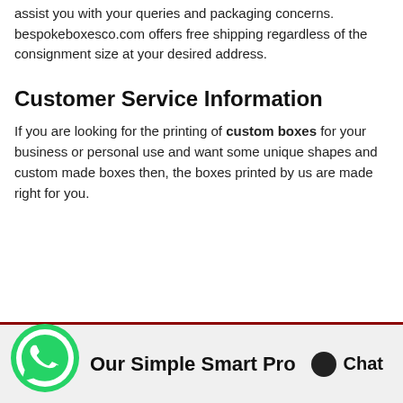assist you with your queries and packaging concerns. bespokeboxesco.com offers free shipping regardless of the consignment size at your desired address.
Customer Service Information
If you are looking for the printing of custom boxes for your business or personal use and want some unique shapes and custom made boxes then, the boxes printed by us are made right for you.
Our Simple Smart Pro  Chat